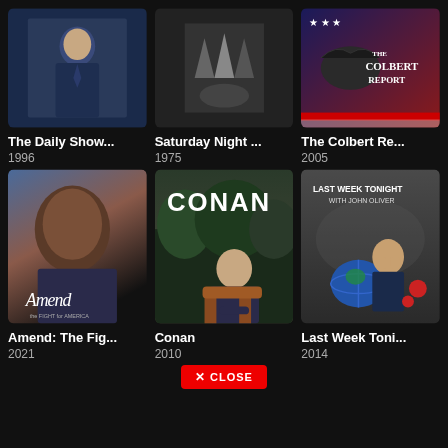[Figure (photo): Thumbnail for The Daily Show - man in suit]
[Figure (photo): Thumbnail for Saturday Night Live - black and white image]
[Figure (photo): Thumbnail for The Colbert Report - logo with bald eagle]
The Daily Show...
1996
Saturday Night ...
1975
The Colbert Re...
2005
[Figure (photo): Thumbnail for Amend: The Fight for America - Will Smith]
[Figure (photo): Thumbnail for Conan - Conan O'Brien sitting in chair]
[Figure (photo): Thumbnail for Last Week Tonight with John Oliver]
Amend: The Fig...
2021
Conan
2010
Last Week Toni...
2014